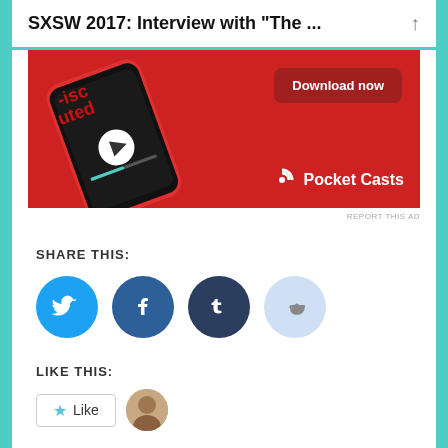SXSW 2017: Interview with "The ...
[Figure (photo): Pocket Casts app advertisement banner on red background showing a smartphone with podcast player interface, a 'Download now' button, and the Pocket Casts logo in the bottom right.]
REPORT THIS AD
SHARE THIS:
[Figure (infographic): Social sharing buttons: Twitter (light blue circle), Facebook (blue circle), Tumblr (dark navy circle), Reddit (light blue circle with alien icon)]
LIKE THIS:
[Figure (infographic): Like button with star icon and a circular avatar photo of a person]